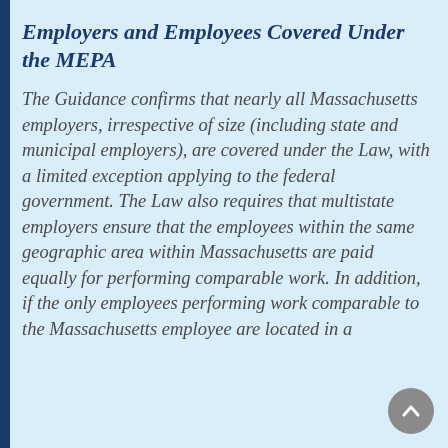Employers and Employees Covered Under the MEPA
The Guidance confirms that nearly all Massachusetts employers, irrespective of size (including state and municipal employers), are covered under the Law, with a limited exception applying to the federal government. The Law also requires that multistate employers ensure that the employees within the same geographic area within Massachusetts are paid equally for performing comparable work. In addition, if the only employees performing work comparable to the Massachusetts employee are located in a